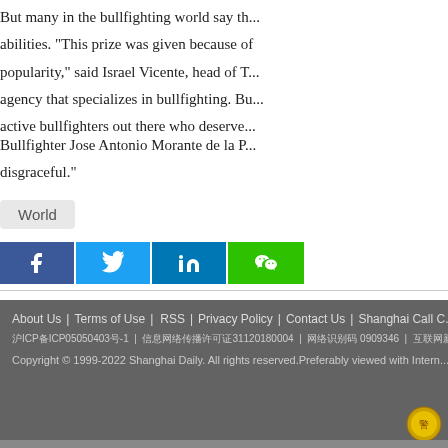But many in the bullfighting world say th... abilities. "This prize was given because of popularity," said Israel Vicente, head of T... agency that specializes in bullfighting. Bu... active bullfighters out there who deserve...
Bullfighter Jose Antonio Morante de la P... disgraceful."
World
[Figure (other): Social sharing buttons: Facebook, Twitter, LinkedIn, WeChat]
About Us | Terms of Use | RSS | Privacy Policy | Contact Us | Shanghai Call C... 沪ICP备ICP05050403号-1 | 信息网络传播许可识31120180004 | 网络识别码 0909346 | 互联网新闻信息服务许可识：35...
Copyright © 1999-2022 Shanghai Daily. All rights reserved.Preferably viewed with Intern...